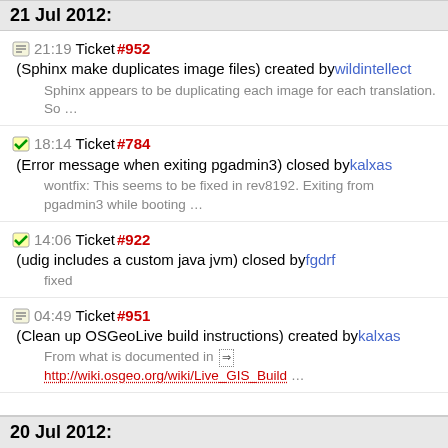21 Jul 2012:
21:19 Ticket #952 (Sphinx make duplicates image files) created by wildintellect — Sphinx appears to be duplicating each image for each translation. So …
18:14 Ticket #784 (Error message when exiting pgadmin3) closed by kalxas — wontfix: This seems to be fixed in rev8192. Exiting from pgadmin3 while booting …
14:06 Ticket #922 (udig includes a custom java jvm) closed by fgdrf — fixed
04:49 Ticket #951 (Clean up OSGeoLive build instructions) created by kalxas — From what is documented in http://wiki.osgeo.org/wiki/Live_GIS_Build …
20 Jul 2012: